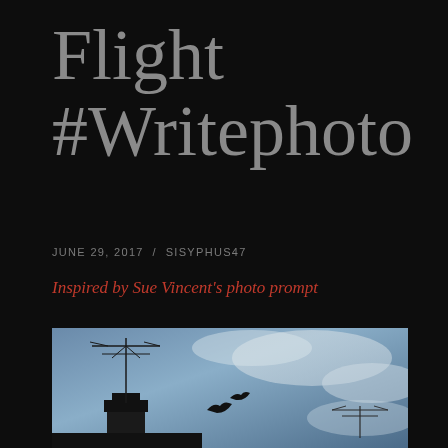Flight #Writephoto
JUNE 29, 2017 / SISYPHUS47
Inspired by Sue Vincent's photo prompt
[Figure (photo): Photograph of birds in flight silhouetted against a twilight sky with clouds, with TV antennas and a chimney stack in the foreground against the bluish-grey dusk sky.]